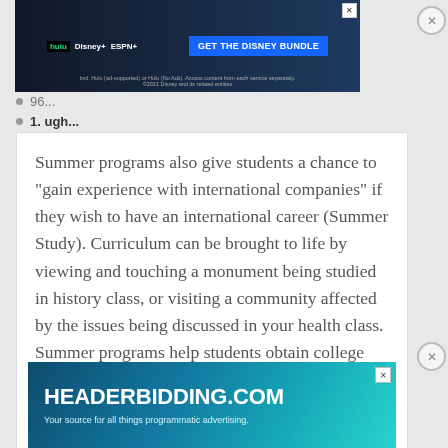[Figure (screenshot): Disney Bundle advertisement banner with Hulu, Disney+, ESPN+ logos and 'GET THE DISNEY BUNDLE' call-to-action button on dark background]
96...
1. ugh...
Summer programs also give students a chance to “gain experience with international companies” if they wish to have an international career (Summer Study). Curriculum can be brought to life by viewing and touching a monument being studied in history class, or visiting a community affected by the issues being discussed in your health class. Summer programs help students obtain college hours, so they can…
Read More
[Figure (screenshot): HEADERBIDDING.COM advertisement banner — Your source for all things programmatic advertising.]